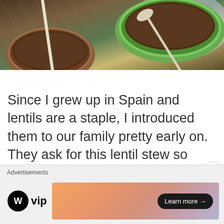[Figure (photo): Overhead photo of bowls of lentil stew with spoons on a blue and white cloth]
Since I grew up in Spain and lentils are a staple, I introduced them to our family pretty early on. They ask for this lentil stew so often! I usually make it with a ham bone, but meatless is great too. It does well in the freezer, and we eat it with muffins or just baguette slices with pats of butter. This is on the menu for Monday :)
Advertisements
[Figure (logo): WordPress VIP logo and advertisement banner with Learn more button]